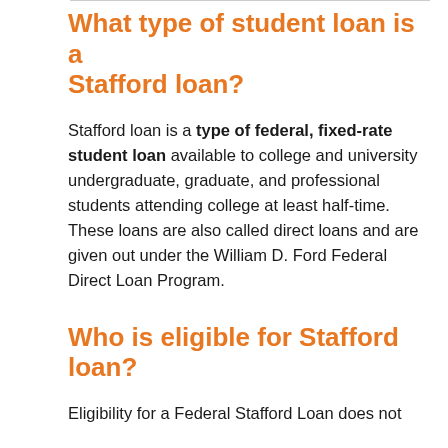What type of student loan is a Stafford loan?
Stafford loan is a type of federal, fixed-rate student loan available to college and university undergraduate, graduate, and professional students attending college at least half-time. These loans are also called direct loans and are given out under the William D. Ford Federal Direct Loan Program.
Who is eligible for Stafford loan?
Eligibility for a Federal Stafford Loan does not